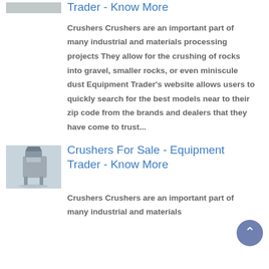Trader - Know More
Crushers Crushers are an important part of many industrial and materials processing projects They allow for the crushing of rocks into gravel, smaller rocks, or even miniscule dust Equipment Trader's website allows users to quickly search for the best models near to their zip code from the brands and dealers that they have come to trust...
[Figure (photo): Thumbnail image of a crusher machine]
Crushers For Sale - Equipment Trader - Know More
Crushers Crushers are an important part of many industrial and materials